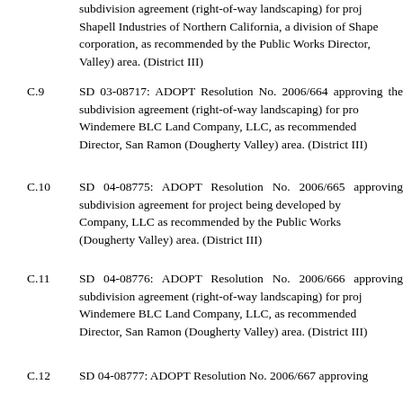subdivision agreement (right-of-way landscaping) for proj Shapell Industries of Northern California, a division of Shape corporation, as recommended by the Public Works Director, Valley) area. (District III)
C.9   SD 03-08717: ADOPT Resolution No. 2006/664 approving the subdivision agreement (right-of-way landscaping) for pro Windemere BLC Land Company, LLC, as recommended Director, San Ramon (Dougherty Valley) area. (District III)
C.10   SD 04-08775: ADOPT Resolution No. 2006/665 approving subdivision agreement for project being developed by Company, LLC as recommended by the Public Works (Dougherty Valley) area. (District III)
C.11   SD 04-08776: ADOPT Resolution No. 2006/666 approving subdivision agreement (right-of-way landscaping) for proj Windemere BLC Land Company, LLC, as recommended Director, San Ramon (Dougherty Valley) area. (District III)
C.12   SD 04-08777: ADOPT Resolution No. 2006/667 approving